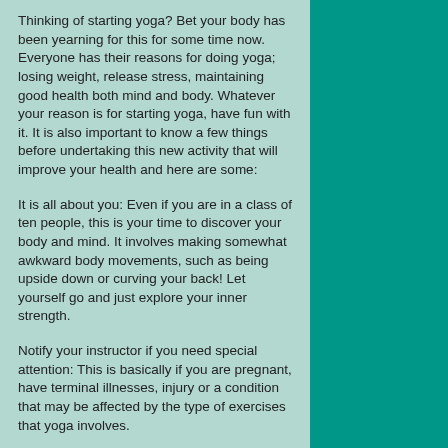Thinking of starting yoga? Bet your body has been yearning for this for some time now. Everyone has their reasons for doing yoga; losing weight, release stress, maintaining good health both mind and body. Whatever your reason is for starting yoga, have fun with it. It is also important to know a few things before undertaking this new activity that will improve your health and here are some:
It is all about you: Even if you are in a class of ten people, this is your time to discover your body and mind. It involves making somewhat awkward body movements, such as being upside down or curving your back! Let yourself go and just explore your inner strength.
Notify your instructor if you need special attention: This is basically if you are pregnant, have terminal illnesses, injury or a condition that may be affected by the type of exercises that yoga involves.